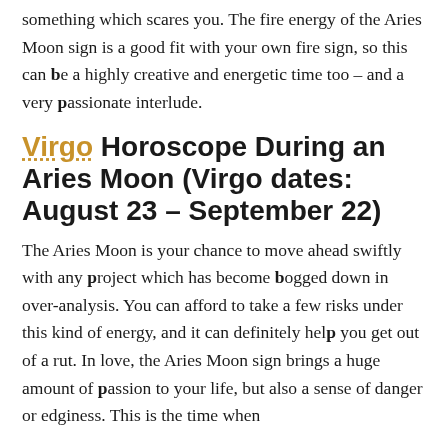something which scares you. The fire energy of the Aries Moon sign is a good fit with your own fire sign, so this can be a highly creative and energetic time too – and a very passionate interlude.
Virgo Horoscope During an Aries Moon (Virgo dates: August 23 – September 22)
The Aries Moon is your chance to move ahead swiftly with any project which has become bogged down in over-analysis. You can afford to take a few risks under this kind of energy, and it can definitely help you get out of a rut. In love, the Aries Moon sign brings a huge amount of passion to your life, but also a sense of danger or edginess. This is the time when